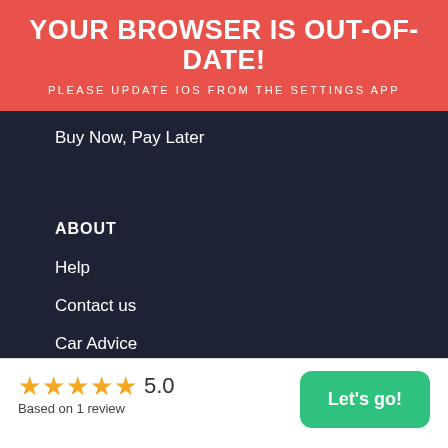YOUR BROWSER IS OUT-OF-DATE!
PLEASE UPDATE IOS FROM THE SETTINGS APP
Buy Now, Pay Later
ABOUT
Help
Contact us
Car Advice
Top Mechanics
★★★★★ 5.0
Based on 1 review
Let's go!